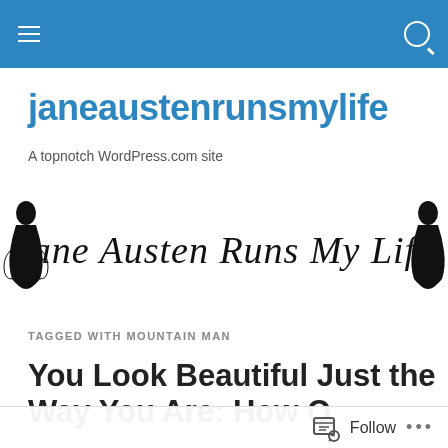janeaustenrunsmylife navigation bar
janeaustenrunsmylife
A topnotch WordPress.com site
[Figure (illustration): Cursive script logo reading 'Jane Austen Runs My Life' with silhouette figures of Jane Austen on each side]
TAGGED WITH MOUNTAIN MAN
You Look Beautiful Just the Way You Are: How Q...
Follow